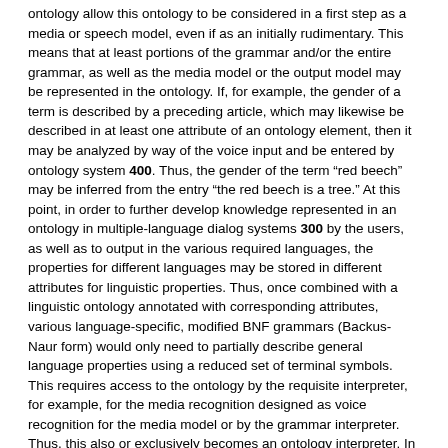ontology allow this ontology to be considered in a first step as a media or speech model, even if as an initially rudimentary. This means that at least portions of the grammar and/or the entire grammar, as well as the media model or the output model may be represented in the ontology. If, for example, the gender of a term is described by a preceding article, which may likewise be described in at least one attribute of an ontology element, then it may be analyzed by way of the voice input and be entered by ontology system 400. Thus, the gender of the term “red beech” may be inferred from the entry “the red beech is a tree.” At this point, in order to further develop knowledge represented in an ontology in multiple-language dialog systems 300 by the users, as well as to output in the various required languages, the properties for different languages may be stored in different attributes for linguistic properties. Thus, once combined with a linguistic ontology annotated with corresponding attributes, various language-specific, modified BNF grammars (Backus-Naur form) would only need to partially describe general language properties using a reduced set of terminal symbols. This requires access to the ontology by the requisite interpreter, for example, for the media recognition designed as voice recognition for the media model or by the grammar interpreter. Thus, this also or exclusively becomes an ontology interpreter. In this case, at least portions of the speech model are managed by ontology system 400 itself and are generated within ontology system 400.
The described method makes it possible for administrator, expert and user